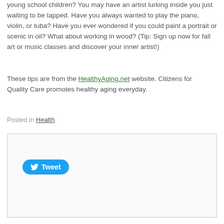young school children? You may have an artist lurking inside you just waiting to be tapped. Have you always wanted to play the piano, violin, or tuba? Have you ever wondered if you could paint a portrait or scenic in oil? What about working in wood? (Tip: Sign up now for fall art or music classes and discover your inner artist!)
These tips are from the HealthyAging.net website. Citizens for Quality Care promotes healthy aging everyday.
Posted in Health.
[Figure (other): Social sharing box containing a Tweet button with Twitter bird icon]